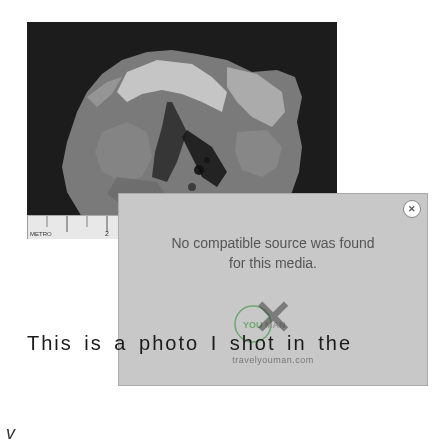[Figure (photo): Black and white photograph of a rough, irregular rock or mineral specimen photographed against a dark background, with a metric ruler scale bar along the bottom edge.]
[Figure (screenshot): Video player overlay showing 'No compatible source was found for this media.' error message with an X close button, YOUMAN logo watermark, and travelyouman.com website text.]
This is a photo I shot in the